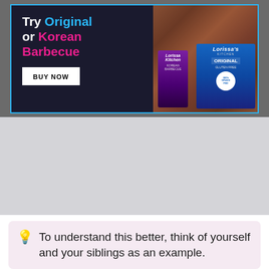[Figure (other): Advertisement banner for Lorissa's Kitchen meat jerky products. Text reads: 'Try Original or Korean Barbecue' with a BUY NOW button. Shows product packaging against a meat jerky background.]
[Figure (other): Gray placeholder/advertisement block below the main ad banner.]
It really just depends on how its genes are expressed.
💡 To understand this better, think of yourself and your siblings as an example.